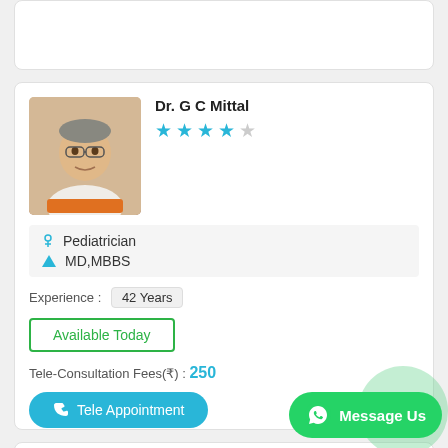[Figure (screenshot): Partial top doctor listing card, mostly white space]
Dr. G C Mittal
★★★★☆ (4 out of 5 stars)
Pediatrician
MD,MBBS
Experience : 42 Years
Available Today
Tele-Consultation Fees(₹) : 250
Tele Appointment
Dr. Rajkumar Goyal
★★★★☆ (4 out of 5 stars)
Message Us